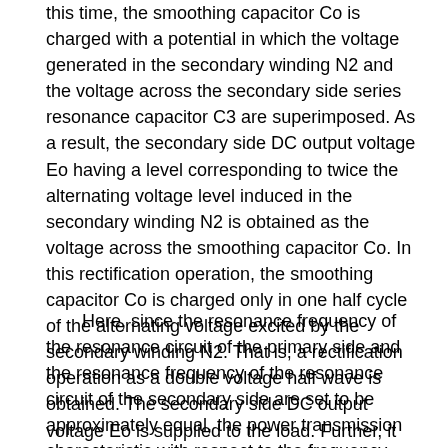this time, the smoothing capacitor Co is charged with a potential in which the voltage generated in the secondary winding N2 and the voltage across the secondary side series resonance capacitor C3 are superimposed. As a result, the secondary side DC output voltage Eo having a level corresponding to twice the alternating voltage level induced in the secondary winding N2 is obtained as the voltage across the smoothing capacitor Co. In this rectification operation, the smoothing capacitor Co is charged only in one half cycle of the alternating voltage excited by the secondary winding N2. That is, a rectification operation as a double voltage half wave is obtained. The secondary side DC output voltage Eo is supplied to the load. Further, it branches and is output as a detection voltage to the control circuit 1.
Here, since the resonance frequency of the resonance circuit of the primary side and the resonance frequency of the resonance circuit of the secondary side are set to be approximately equal, the power transmission characteristic with respect to the frequency from the primary side to the secondary side is slight. It becomes very sensitive to frequency fluctuations. That is, in the first